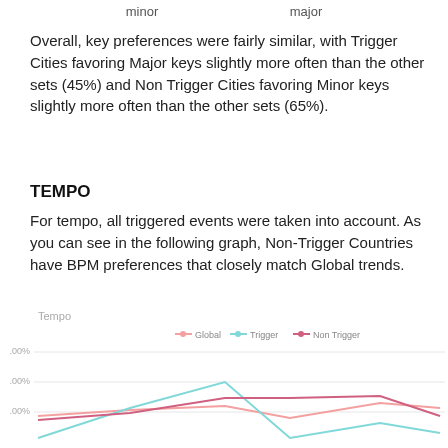minor                    major
Overall, key preferences were fairly similar, with Trigger Cities favoring Major keys slightly more often than the other sets (45%) and Non Trigger Cities favoring Minor keys slightly more often than the other sets (65%).
TEMPO
For tempo, all triggered events were taken into account. As you can see in the following graph, Non-Trigger Countries have BPM preferences that closely match Global trends.
[Figure (line-chart): Line chart showing Tempo BPM preference percentages for Global, Trigger, and Non Trigger groups. Y-axis shows 20.00%, 30.00%, 40.00%. Trigger line peaks around 30% in the middle section, Global and Non Trigger lines are lower around 15-20%.]